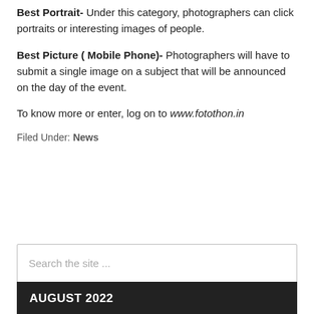Best Portrait- Under this category, photographers can click portraits or interesting images of people.
Best Picture ( Mobile Phone)- Photographers will have to submit a single image on a subject that will be announced on the day of the event.
To know more or enter, log on to www.fotothon.in
Filed Under: News
Search the site ...
AUGUST 2022